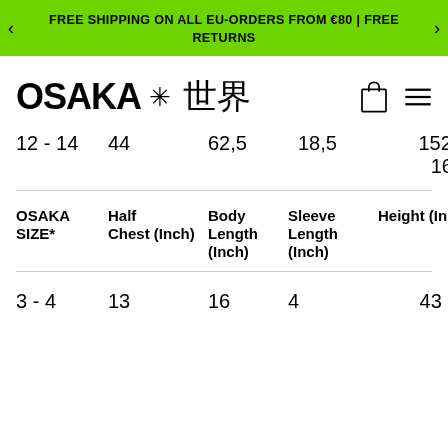FREE SHIPPING ON ALL EU-ORDERS FROM €80 | FREE RETURNS
OSAKA ※ 世界
| OSAKA SIZE* | Half Chest (Inch) | Body Length (Inch) | Sleeve Length (Inch) | Height (Inch) |
| --- | --- | --- | --- | --- |
| 12 - 14 | 44 | 62,5 | 18,5 | 152 - 164 |
| 3 - 4 | 13 | 16 | 4 | 43 - |